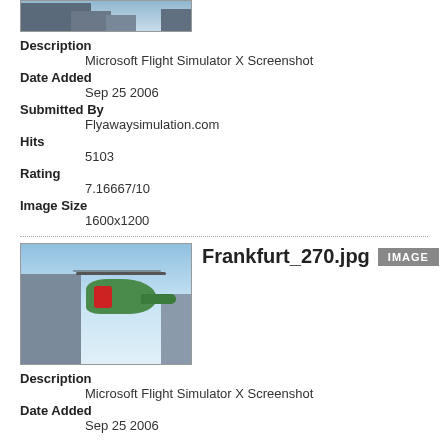[Figure (screenshot): Thumbnail of a flight simulator screenshot showing buildings and sky]
Description
    Microsoft Flight Simulator X Screenshot
Date Added
    Sep 25 2006
Submitted By
    Flyawaysimulation.com
Hits
    5103
Rating
    7.16667/10
Image Size
    1600x1200
Frankfurt_270.jpg
[Figure (screenshot): Flight simulator screenshot showing a helicopter flying near a tall building in Frankfurt]
Description
    Microsoft Flight Simulator X Screenshot
Date Added
    Sep 25 2006